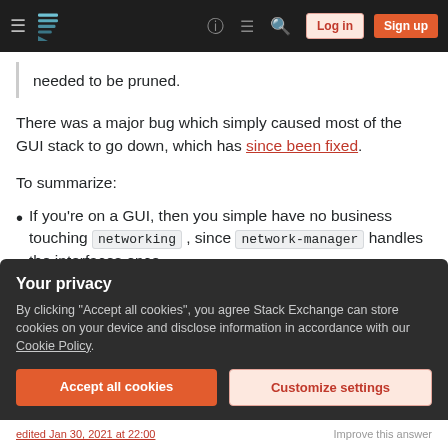Stack Exchange navigation bar with hamburger menu, logo, help, chat, search icons, Log in and Sign up buttons
needed to be pruned.
There was a major bug which simply caused most of the GUI stack to go down, which has since been fixed.
To summarize:
If you're on a GUI, then you simple have no business touching networking , since network-manager handles the interfaces once
Your privacy
By clicking "Accept all cookies", you agree Stack Exchange can store cookies on your device and disclose information in accordance with our Cookie Policy.
Accept all cookies   Customize settings